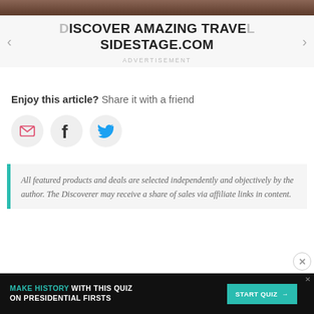[Figure (screenshot): Cropped top of a photo (partial image of a person visible)]
DISCOVER AMAZING TRAVEL SIDESTAGE.COM
ADVERTISEMENT
Enjoy this article? Share it with a friend
[Figure (infographic): Three social share buttons: email (envelope icon), Facebook (f icon), Twitter (bird icon)]
All featured products and deals are selected independently and objectively by the author. The Discoverer may receive a share of sales via affiliate links in content.
[Figure (screenshot): Ad banner: MAKE HISTORY WITH THIS QUIZ ON PRESIDENTIAL FIRSTS with START QUIZ button]